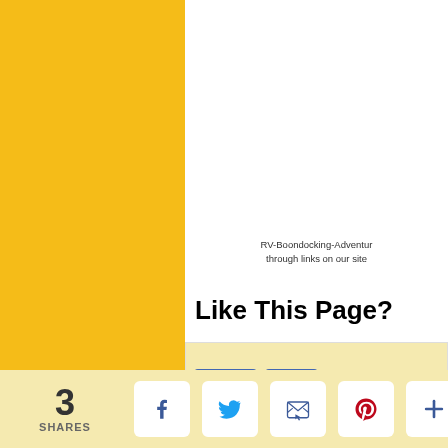[Figure (other): Yellow sidebar on the left side of the page]
RV-Boondocking-Adventur... through links on our site
Like This Page?
[Figure (screenshot): Facebook Like and Share buttons widget showing '5 people like this. Sign Up to...' on a light yellow background]
Share this page:
3 SHARES
[Figure (infographic): Social share buttons row: Facebook, Twitter, Email, Pinterest, More (+)]